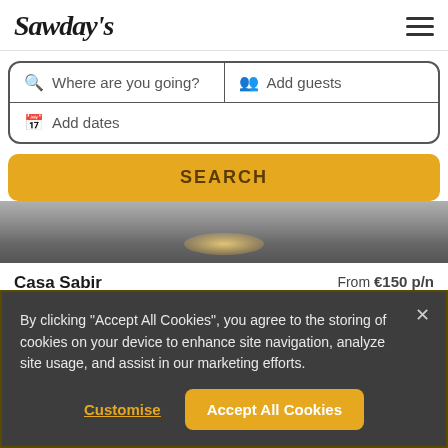Sawday's
Where are you going?
Add guests
Add dates
SEARCH
[Figure (photo): Dark metallic surface with a reflective light glow, possibly a grill or kitchen surface]
Casa Sabir  From €150 p/n
By clicking "Accept All Cookies", you agree to the storing of cookies on your device to enhance site navigation, analyze site usage, and assist in our marketing efforts.
Customise
Accept All Cookies